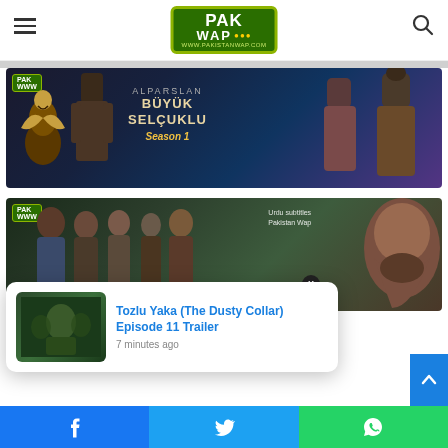PAK WAP logo header with hamburger menu and search icon
[Figure (photo): Alparslan Buyuk Selcuklu Season 1 promotional banner with characters and eagle on dark fantasy background]
[Figure (photo): Turkish drama promotional banner with group of characters, Pak WWW badge, Urdu subtitles Pakistan Wap text, and X close button]
Tozlu Yaka (The Dusty Collar) Episode 11 Trailer
7 minutes ago
Facebook share | Twitter share | WhatsApp share